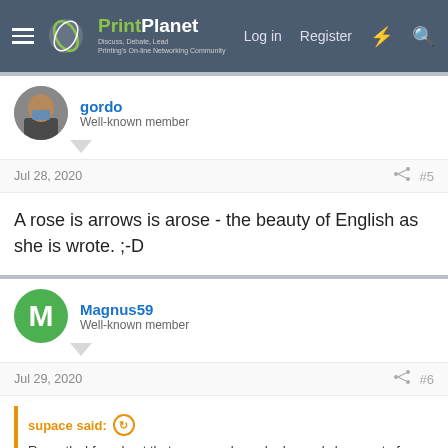PrintPlanet — Discuss, Debate, Lead — Printing's On-line Networking Community | Log in | Register
gordo
Well-known member
Jul 28, 2020  #5
A rose is arrows is arose - the beauty of English as she is wrote. ;-D
Magnus59
Well-known member
Jul 29, 2020  #6
supace said:
Recently, I found out that my coworker, who has only been out of college for a couple of years and has no graphic design experience or training, has decided that it is okay to replace images in PDFs using Acrobat. All my instincts say this is a bad idea, but I don't have hard evidence that this will cause problems